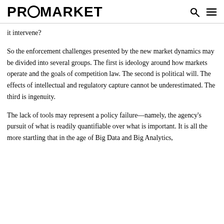PROMARKET
it intervene?
So the enforcement challenges presented by the new market dynamics may be divided into several groups. The first is ideology around how markets operate and the goals of competition law. The second is political will. The effects of intellectual and regulatory capture cannot be underestimated. The third is ingenuity.
The lack of tools may represent a policy failure—namely, the agency's pursuit of what is readily quantifiable over what is important. It is all the more startling that in the age of Big Data and Big Analytics,